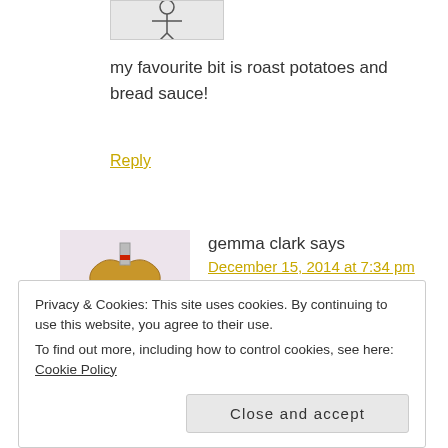[Figure (illustration): Partial cropped avatar image at top, showing a cartoon stick figure or doodle on a light gray background.]
my favourite bit is roast potatoes and bread sauce!
Reply
[Figure (illustration): Avatar image for gemma clark: a cartoon heart-shaped character with limbs, on a lavender/pink background.]
gemma clark says
December 15, 2014 at 7:34 pm
Privacy & Cookies: This site uses cookies. By continuing to use this website, you agree to their use.
To find out more, including how to control cookies, see here: Cookie Policy
Close and accept